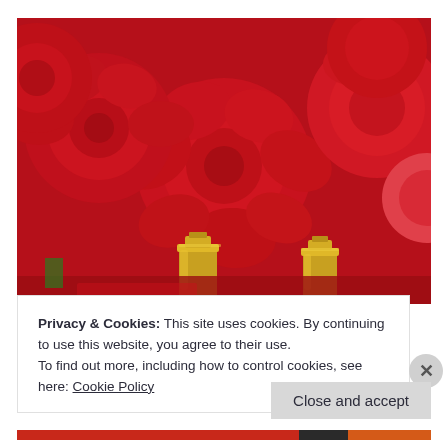[Figure (photo): Close-up photograph of red roses with gold perfume bottle caps visible at the bottom. Vibrant red rose petals fill the frame, with two shiny gold cylindrical perfume bottle tops in the lower portion of the image.]
Privacy & Cookies: This site uses cookies. By continuing to use this website, you agree to their use.
To find out more, including how to control cookies, see here: Cookie Policy